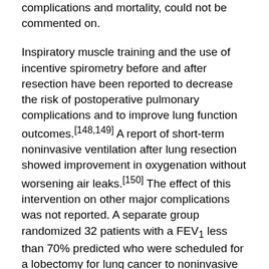complications and mortality, could not be commented on.
Inspiratory muscle training and the use of incentive spirometry before and after resection have been reported to decrease the risk of postoperative pulmonary complications and to improve lung function outcomes.[148,149] A report of short-term noninvasive ventilation after lung resection showed improvement in oxygenation without worsening air leaks.[150] The effect of this intervention on other major complications was not reported. A separate group randomized 32 patients with a FEV1 less than 70% predicted who were scheduled for a lobectomy for lung cancer to noninvasive pressure support ventilation for 7 days prior to (1 h five times daily) and 3 days after